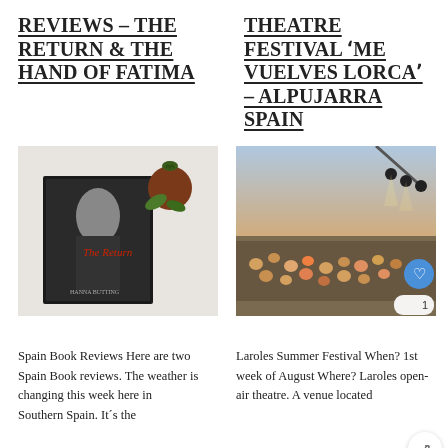REVIEWS – THE RETURN & THE HAND OF FATIMA
THEATRE FESTIVAL 'ME VUELVES LORCA' – ALPUJARRA SPAIN
[Figure (photo): Book cover of 'The Return' by a woman in dark clothing, with a pomegranate nearby, on a light background.]
[Figure (photo): Outdoor theatre audience seated on stone steps at dusk, with stage lighting equipment overhead. Alpujarra Spain.]
Spain Book Reviews Here are two Spain Book reviews. The weather is changing this week here in Southern Spain. It´s the
Laroles Summer Festival When? 1st week of August Where? Laroles open-air theatre. A venue located